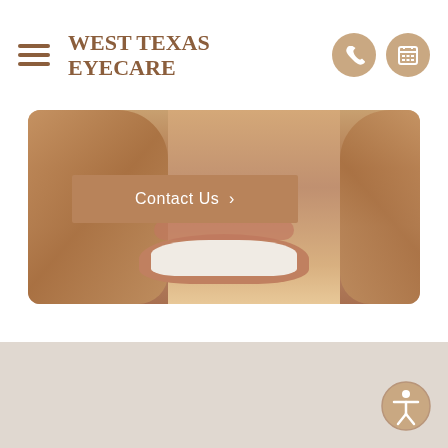West Texas Eyecare
[Figure (photo): A smiling person holding their face with both hands, used as hero image for West Texas Eyecare website]
Contact Us >
[Figure (infographic): Beige bottom section of webpage with accessibility icon (person in circle) in bottom right corner]